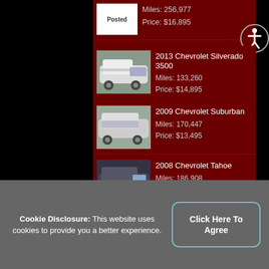Posted
Miles: 256,977
Price: $16,895
[Figure (photo): 2013 Chevrolet Silverado 3500 truck photo]
2013 Chevrolet Silverado 3500
Miles: 133,260
Price: $14,895
[Figure (photo): 2009 Chevrolet Suburban SUV photo]
2009 Chevrolet Suburban
Miles: 170,447
Price: $13,495
[Figure (photo): 2008 Chevrolet Tahoe SUV photo]
2008 Chevrolet Tahoe
Miles: 186,908
Price: $10,895
[Figure (photo): 2007 Chevrolet Tahoe SUV photo]
2007 Chevrolet Tahoe
Cookie Disclosure: This website uses cookies to provide you a better experience.
Click Here To Agree